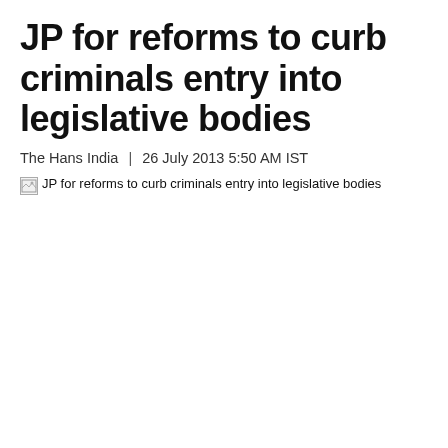JP for reforms to curb criminals entry into legislative bodies
The Hans India  |  26 July 2013 5:50 AM IST
[Figure (photo): Broken/missing image placeholder with alt text: JP for reforms to curb criminals entry into legislative bodies]